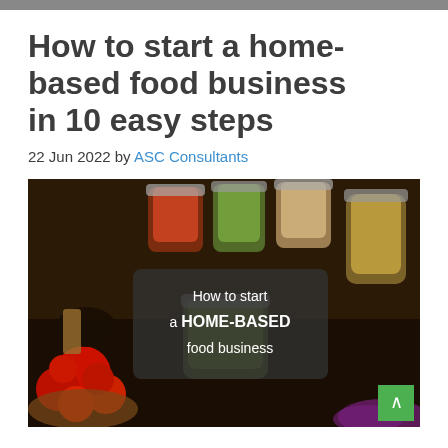How to start a home-based food business in 10 easy steps
22 Jun 2022 by ASC Consultants
[Figure (photo): Photo of assorted canned and preserved foods in glass jars — pickles, tomatoes, sauces, grains, and fermented vegetables — with a dark overlay text box reading 'How to start a HOME-BASED food business'. A green scroll-up button is visible at bottom right.]